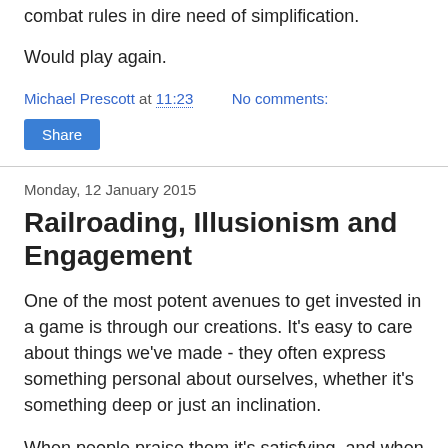combat rules in dire need of simplification.
Would play again.
Michael Prescott at 11:23   No comments:
Share
Monday, 12 January 2015
Railroading, Illusionism and Engagement
One of the most potent avenues to get invested in a game is through our creations. It's easy to care about things we've made - they often express something personal about ourselves, whether it's something deep or just an inclination.
When people praise them it's satisfying, and when they take on a life of their own it's especially cool. There's nothing so memorable as seeing one of your creations celebrated (or